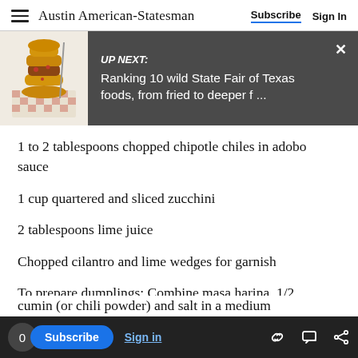Austin American-Statesman | Subscribe  Sign In
[Figure (screenshot): UP NEXT banner with food image showing fried food on checkered paper. Text reads: UP NEXT: Ranking 10 wild State Fair of Texas foods, from fried to deeper f ...]
1 to 2 tablespoons chopped chipotle chiles in adobo sauce
1 cup quartered and sliced zucchini
2 tablespoons lime juice
Chopped cilantro and lime wedges for garnish
To prepare dumplings: Combine masa harina, 1/2
cumin (or chili powder) and salt in a medium
0  Subscribe  Sign in